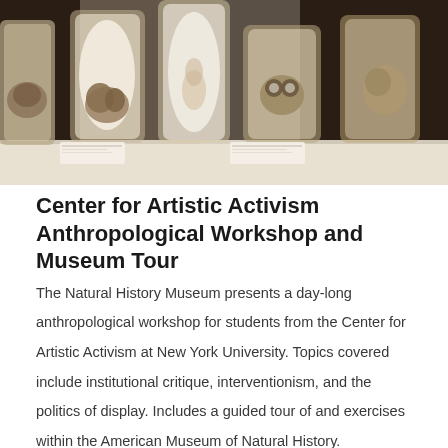[Figure (photo): Museum display of biological specimens preserved in glass jars on a lit shelf]
Center for Artistic Activism Anthropological Workshop and Museum Tour
The Natural History Museum presents a day-long anthropological workshop for students from the Center for Artistic Activism at New York University. Topics covered include institutional critique, interventionism, and the politics of display. Includes a guided tour of and exercises within the American Museum of Natural History.
read more
[Figure (photo): Exterior view of a classical museum building facade]